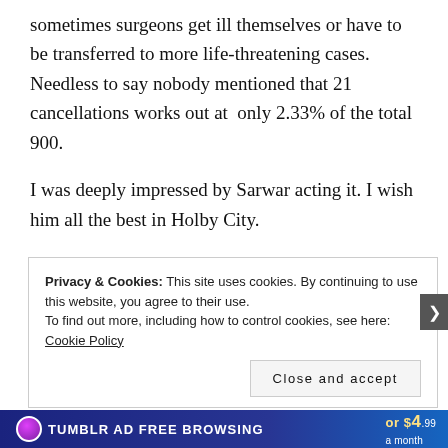sometimes surgeons get ill themselves or have to be transferred to more life-threatening cases. Needless to say nobody mentioned that 21 cancellations works out at only 2.33% of the total 900.
I was deeply impressed by Sarwar acting it. I wish him all the best in Holby City.
Privacy & Cookies: This site uses cookies. By continuing to use this website, you agree to their use.
To find out more, including how to control cookies, see here: Cookie Policy

Close and accept